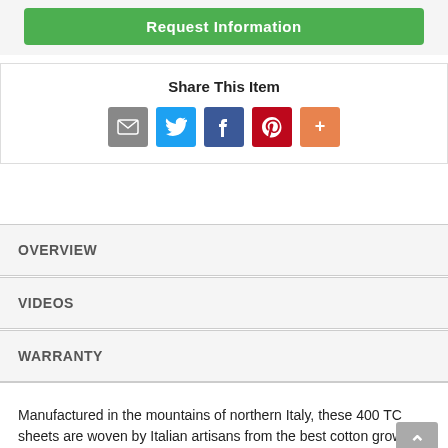[Figure (screenshot): Green 'Request Information' button at top of page]
Share This Item
[Figure (infographic): Social share icons: email (grey), Twitter (blue), Facebook (dark blue), Pinterest (red), More (orange)]
OVERVIEW
VIDEOS
WARRANTY
Manufactured in the mountains of northern Italy, these 400 TC sheets are woven by Italian artisans from the best cotton grown in Egypt. Egyptian cotton is superior